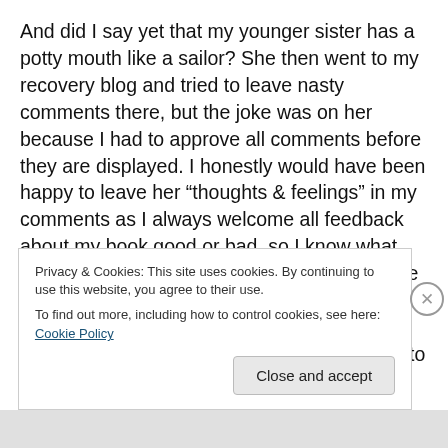And did I say yet that my younger sister has a potty mouth like a sailor? She then went to my recovery blog and tried to leave nasty comments there, but the joke was on her because I had to approve all comments before they are displayed. I honestly would have been happy to leave her “thoughts & feelings” in my comments as I always welcome all feedback about my book good or bad, so I know what area’s as a writer my readers want me to write about. But the comments were laced with so much profanity, I couldn’t. Not only does she drink a bit too much, she is hurtful and mean to others. I feel she is
Privacy & Cookies: This site uses cookies. By continuing to use this website, you agree to their use.
To find out more, including how to control cookies, see here: Cookie Policy